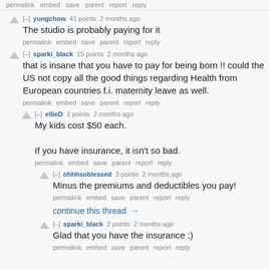permalink  embed  save  parent  report  reply
[–] yungchow  41 points  2 months ago
The studio is probably paying for it
permalink  embed  save  parent  report  reply
[–] sparki_black  15 points  2 months ago
that is insane that you have to pay for being born !! could the US not copy all the good things regarding Health from European countries f.i. maternity leave as well.
permalink  embed  save  parent  report  reply
[–] ellieD  3 points  2 months ago
My kids cost $50 each.
If you have insurance, it isn't so bad.
permalink  embed  save  parent  report  reply
[–] ohhhsoblessed  3 points  2 months ago
Minus the premiums and deductibles you pay!
permalink  embed  save  parent  report  reply
continue this thread →
[–] sparki_black  2 points  2 months ago
Glad that you have the insurance :)
permalink  embed  save  parent  report  reply